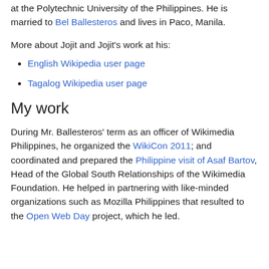at the Polytechnic University of the Philippines. He is married to Bel Ballesteros and lives in Paco, Manila.
More about Jojit and Jojit's work at his:
English Wikipedia user page
Tagalog Wikipedia user page
My work
During Mr. Ballesteros' term as an officer of Wikimedia Philippines, he organized the WikiCon 2011; and coordinated and prepared the Philippine visit of Asaf Bartov, Head of the Global South Relationships of the Wikimedia Foundation. He helped in partnering with like-minded organizations such as Mozilla Philippines that resulted to the Open Web Day project, which he led.